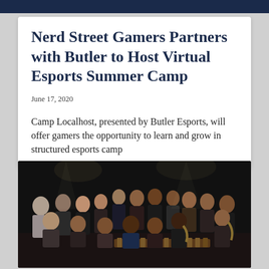Nerd Street Gamers Partners with Butler to Host Virtual Esports Summer Camp
June 17, 2020
Camp Localhost, presented by Butler Esports, will offer gamers the opportunity to learn and grow in structured esports camp
[Figure (photo): Group photo of approximately 20 young men in formal attire on a dark stage, some holding musical instruments including saxophones and a marimba, posed for a group portrait.]